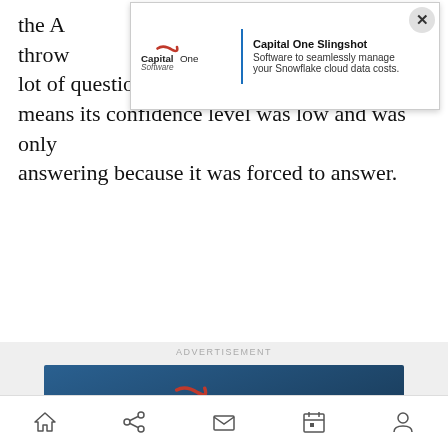the A... throw... a lot of question marks after its answer, which means its confidence level was low and was only answering because it was forced to answer.
[Figure (screenshot): Top banner advertisement overlay for Capital One Slingshot with logo, text 'Software to seamlessly manage your Snowflake cloud data costs.' and an X close button]
ADVERTISEMENT
[Figure (screenshot): Capital One Slingshot advertisement banner with dark blue gradient background, Capital One Software logo, title 'Capital One Slingshot', tagline 'Software to seamlessly manage your Snowflake cloud data costs.', and a 'Learn more' button]
[Figure (screenshot): Mobile browser bottom navigation bar with home, share, mail, calendar, and profile icons]